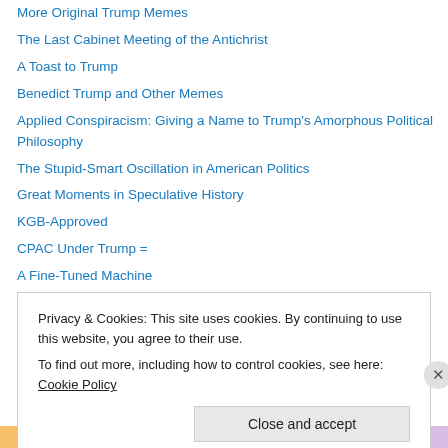More Original Trump Memes
The Last Cabinet Meeting of the Antichrist
A Toast to Trump
Benedict Trump and Other Memes
Applied Conspiracism: Giving a Name to Trump's Amorphous Political Philosophy
The Stupid-Smart Oscillation in American Politics
Great Moments in Speculative History
KGB-Approved
CPAC Under Trump =
A Fine-Tuned Machine
Four More Years of Trump Memes? Let's Hope Not!
Seinfeld-Trump Morph
Privacy & Cookies: This site uses cookies. By continuing to use this website, you agree to their use.
To find out more, including how to control cookies, see here: Cookie Policy
Close and accept